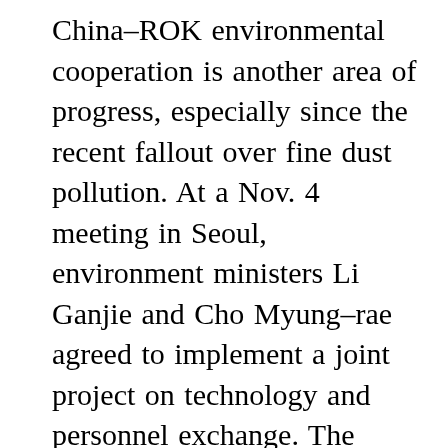China–ROK environmental cooperation is another area of progress, especially since the recent fallout over fine dust pollution. At a Nov. 4 meeting in Seoul, environment ministers Li Ganjie and Cho Myung–rae agreed to implement a joint project on technology and personnel exchange. The PRC Ministry of Ecology and Environment's Director–General for Climate Change Li Gao and ROK Foreign Ministry's Climate Change Ambassador Yoo Yeon–chul also took part in talks in Haikou on Oct. 30–31. South Korean Prime Minister Lee Nak–yon expressed support for trilateral cooperation with Japan at an environmental